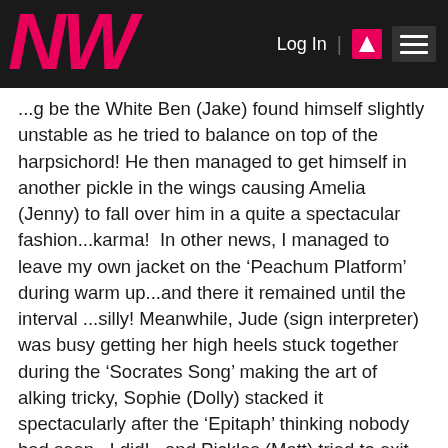NW | Log In | [icon] [menu]
...g be the White Ben (Jake) found himself slightly unstable as he tried to balance on top of the harpsichord! He then managed to get himself in another pickle in the wings causing Amelia (Jenny) to fall over him in a quite a spectacular fashion...karma!  In other news, I managed to leave my own jacket on the 'Peachum Platform' during warm up...and there it remained until the interval ...silly!  Meanwhile, Jude (sign interpreter) was busy getting her high heels stuck together during the 'Socrates Song' making the art of alking tricky, Sophie (Dolly) stacked it spectacularly after the 'Epitaph' thinking nobody had seen...I did!...and Pickles (Matt) tried to exit the prison scene backwards only to smack himself into the wall...lovely!!  I suppose I should mention the this week's 'Breaking Music' Award goes to Amelia for her tuneful build up to 'Liebeslied' and Barbara (Betty) busted her pillow swelling mechanism again due to over enthusiastic